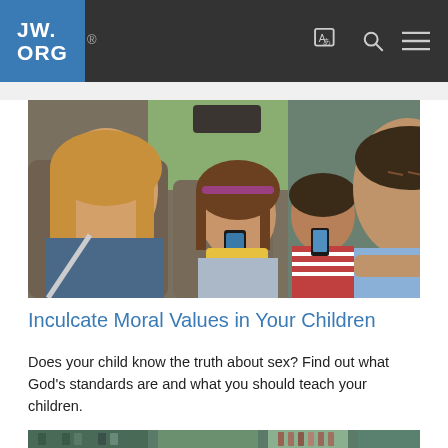JW.ORG
[Figure (photo): Four young people (teenagers) sitting inside a car, three in the back seat looking at smartphones, one male adult on the right side looking frustrated or concerned.]
Inculcate Moral Values in Your Children
Does your child know the truth about sex? Find out what God's standards are and what you should teach your children.
[Figure (photo): Partially visible bottom strip image, appears to show store shelves or products.]